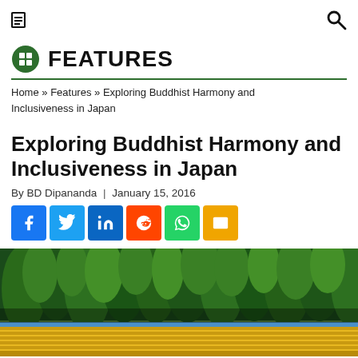[hamburger menu icon] [search icon]
FEATURES
Home » Features » Exploring Buddhist Harmony and Inclusiveness in Japan
Exploring Buddhist Harmony and Inclusiveness in Japan
By BD Dipananda | January 15, 2016
[Figure (infographic): Social sharing icons: Facebook, Twitter, LinkedIn, Reddit, WhatsApp, Email]
[Figure (photo): Outdoor photo showing a colorful temple or shrine structure with yellow/blue roof tiles visible at the bottom, surrounded by tall green trees (cedar/pine forest) in Japan.]